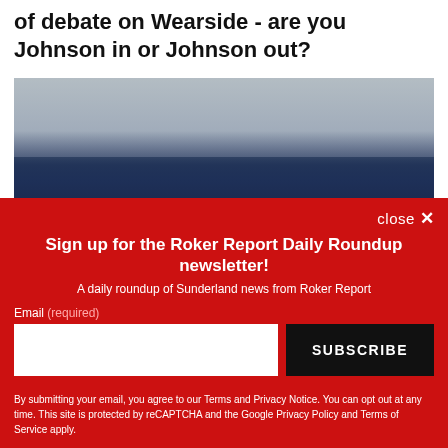of debate on Wearside - are you Johnson in or Johnson out?
[Figure (photo): Sunderland AFC football players in dark navy and red kits gathered together on a pitch, with stadium stands visible in background]
close ×
Sign up for the Roker Report Daily Roundup newsletter!
A daily roundup of Sunderland news from Roker Report
Email (required)
SUBSCRIBE
By submitting your email, you agree to our Terms and Privacy Notice. You can opt out at any time. This site is protected by reCAPTCHA and the Google Privacy Policy and Terms of Service apply.